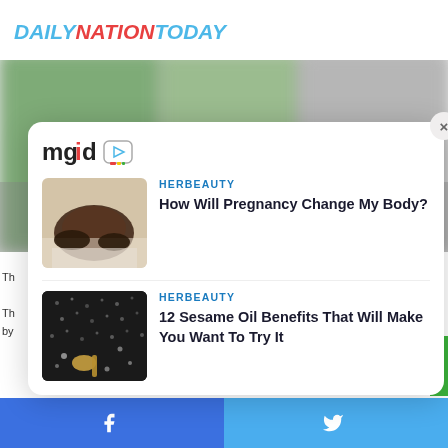DAILYNATIONTODAY
[Figure (screenshot): Blurred green and grey background photo behind the modal overlay]
[Figure (screenshot): mgid logo with play button icon]
[Figure (photo): Pregnant woman's belly being held by hands, article thumbnail]
HERBEAUTY
How Will Pregnancy Change My Body?
[Figure (photo): Sesame seeds in a pan with a wooden spoon, article thumbnail]
HERBEAUTY
12 Sesame Oil Benefits That Will Make You Want To Try It
Facebook  Twitter